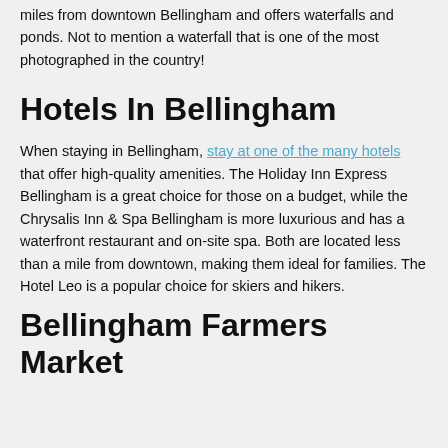Sightseeing: Whatcom Falls Park is a stunning natural area just two miles from downtown Bellingham and offers waterfalls and ponds. Not to mention a waterfall that is one of the most photographed in the country!
Hotels In Bellingham
When staying in Bellingham, stay at one of the many hotels that offer high-quality amenities. The Holiday Inn Express Bellingham is a great choice for those on a budget, while the Chrysalis Inn & Spa Bellingham is more luxurious and has a waterfront restaurant and on-site spa. Both are located less than a mile from downtown, making them ideal for families. The Hotel Leo is a popular choice for skiers and hikers.
Bellingham Farmers Market